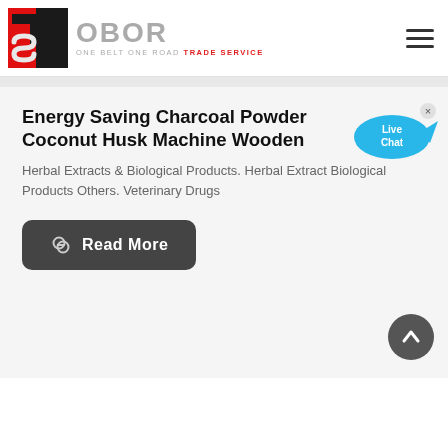[Figure (logo): TS OBOR - One Belt One Road Trade Service logo with red and black TS icon and gray OBOR text]
Energy Saving Charcoal Powder Coconut Husk Machine Wooden
Herbal Extracts & Biological Products. Herbal Extract Biological Products Others. Veterinary Drugs
[Figure (other): Live Chat bubble button in blue]
Read More
[Figure (other): Scroll to top arrow button]